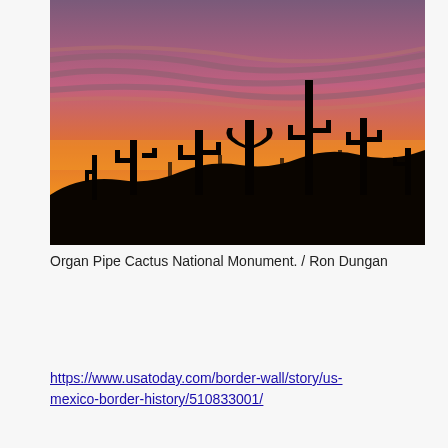[Figure (photo): Silhouette of saguaro cacti against a vivid orange and purple sunset sky at Organ Pipe Cactus National Monument.]
Organ Pipe Cactus National Monument. / Ron Dungan
https://www.usatoday.com/border-wall/story/us-mexico-border-history/510833001/